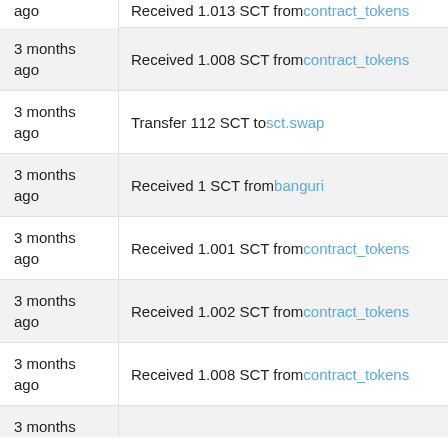4 months ago — Received 1.013 SCT from contract_tokens
3 months ago — Received 1.008 SCT from contract_tokens
3 months ago — Transfer 112 SCT to sct.swap
3 months ago — Received 1 SCT from banguri
3 months ago — Received 1.001 SCT from contract_tokens
3 months ago — Received 1.002 SCT from contract_tokens
3 months ago — Received 1.008 SCT from contract_tokens
3 months ago — (partial)